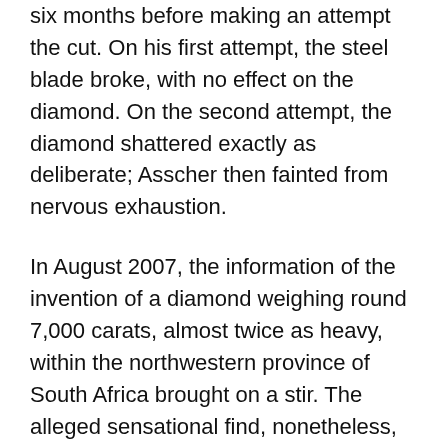six months before making an attempt the cut. On his first attempt, the steel blade broke, with no effect on the diamond. On the second attempt, the diamond shattered exactly as deliberate; Asscher then fainted from nervous exhaustion.
In August 2007, the information of the invention of a diamond weighing round 7,000 carats, almost twice as heavy, within the northwestern province of South Africa brought on a stir. The alleged sensational find, nonetheless, turned out to be a faux within the type of a piece of plastic just over a month later. Cullinan III weighs ninety four.4 carats (18.88 g) and has been sanded pear-shaped / teardrop-formed. It was discovered in South Africa in 1905 and weighed 3106.seventy five carats (621.35 g) in its uncooked state . The coin's reverse depicts a picture of Mr.